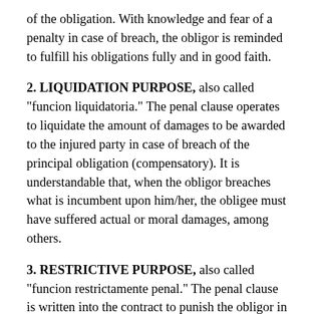of the obligation. With knowledge and fear of a penalty in case of breach, the obligor is reminded to fulfill his obligations fully and in good faith.
2. LIQUIDATION PURPOSE, also called "funcion liquidatoria." The penal clause operates to liquidate the amount of damages to be awarded to the injured party in case of breach of the principal obligation (compensatory). It is understandable that, when the obligor breaches what is incumbent upon him/her, the obligee must have suffered actual or moral damages, among others.
3. RESTRICTIVE PURPOSE, also called "funcion restrictamente penal." The penal clause is written into the contract to punish the obligor in case of breach of the principal obligation